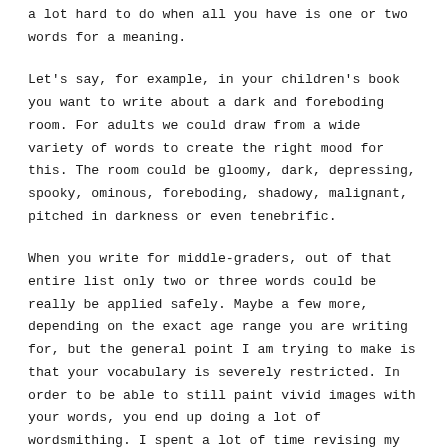a lot hard to do when all you have is one or two words for a meaning.
Let's say, for example, in your children's book you want to write about a dark and foreboding room. For adults we could draw from a wide variety of words to create the right mood for this. The room could be gloomy, dark, depressing, spooky, ominous, foreboding, shadowy, malignant, pitched in darkness or even tenebrific.
When you write for middle-graders, out of that entire list only two or three words could be really be applied safely. Maybe a few more, depending on the exact age range you are writing for, but the general point I am trying to make is that your vocabulary is severely restricted. In order to be able to still paint vivid images with your words, you end up doing a lot of wordsmithing. I spent a lot of time revising my book over and over again. Not so much for